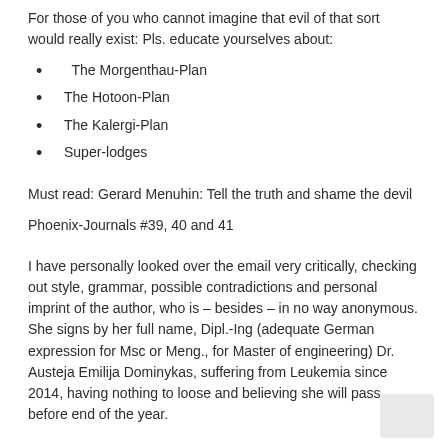For those of you who cannot imagine that evil of that sort would really exist: Pls. educate yourselves about:
The Morgenthau-Plan
The Hotoon-Plan
The Kalergi-Plan
Super-lodges
Must read: Gerard Menuhin: Tell the truth and shame the devil
Phoenix-Journals #39, 40 and 41
I have personally looked over the email very critically, checking out style, grammar, possible contradictions and personal imprint of the author, who is – besides – in no way anonymous. She signs by her full name, Dipl.-Ing (adequate German expression for Msc or Meng., for Master of engineering) Dr. Austeja Emilija Dominykas, suffering from Leukemia since 2014, having nothing to loose and believing she will pass before end of the year.